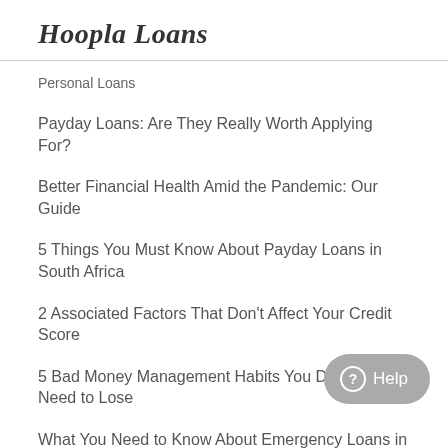Hoopla Loans
Personal Loans
Payday Loans: Are They Really Worth Applying For?
Better Financial Health Amid the Pandemic: Our Guide
5 Things You Must Know About Payday Loans in South Africa
2 Associated Factors That Don't Affect Your Credit Score
5 Bad Money Management Habits You Definitely Need to Lose
What You Need to Know About Emergency Loans in South Africa
4 Options to Consider When You've Gone Over Your Budget
3 Questions to Ponder on Before Applying for a Personal Loan